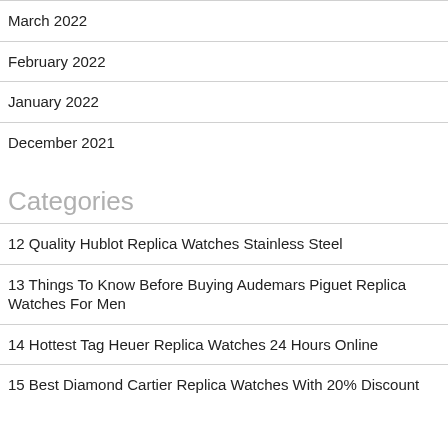March 2022
February 2022
January 2022
December 2021
Categories
12 Quality Hublot Replica Watches Stainless Steel
13 Things To Know Before Buying Audemars Piguet Replica Watches For Men
14 Hottest Tag Heuer Replica Watches 24 Hours Online
15 Best Diamond Cartier Replica Watches With 20% Discount